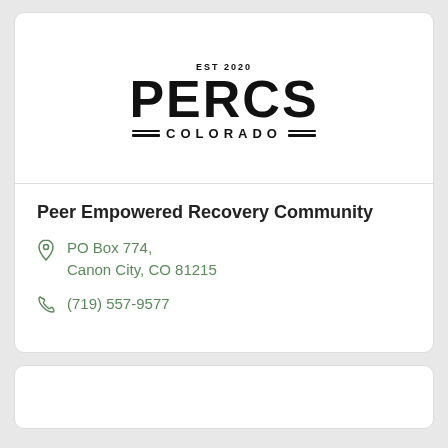[Figure (logo): PERCS Colorado logo — EST 2020 above large bold PERCS text, with COLORADO below flanked by double horizontal lines]
Peer Empowered Recovery Community
PO Box 774, Canon City, CO 81215
(719) 557-9577